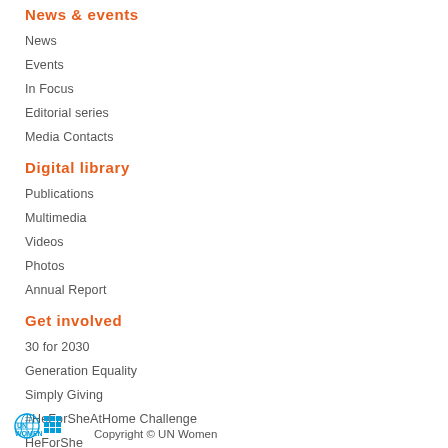News & events
News
Events
In Focus
Editorial series
Media Contacts
Digital library
Publications
Multimedia
Videos
Photos
Annual Report
Get involved
30 for 2030
Generation Equality
Simply Giving
#HeForSheAtHome Challenge
HeForShe
[Figure (logo): UN Women logo with globe icon and grid pattern]
Copyright © UN Women